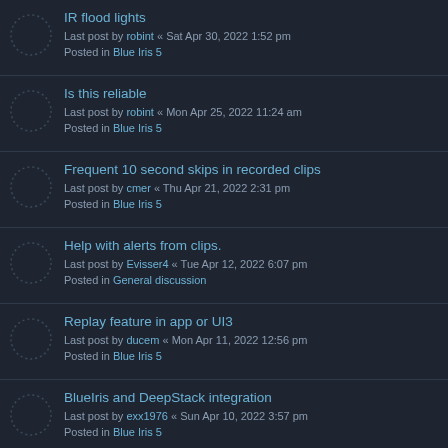IR flood lights
Last post by robint « Sat Apr 30, 2022 1:52 pm
Posted in Blue Iris 5
Is this reliable
Last post by robint « Mon Apr 25, 2022 11:24 am
Posted in Blue Iris 5
Frequent 10 second skips in recorded clips
Last post by cmer « Thu Apr 21, 2022 2:31 pm
Posted in Blue Iris 5
Help with alerts from clips.
Last post by Evisser4 « Tue Apr 12, 2022 6:07 pm
Posted in General discussion
Replay feature in app or UI3
Last post by ducem « Mon Apr 11, 2022 12:56 pm
Posted in Blue Iris 5
BlueIris and DeepStack integration
Last post by exx1976 « Sun Apr 10, 2022 3:57 pm
Posted in Blue Iris 5
iGPU rehashed - HD vs UHD vs 630 vs 730
Last post by DesertSweeper « Sun Apr 03, 2022 1:37 pm
Posted in PC configuration